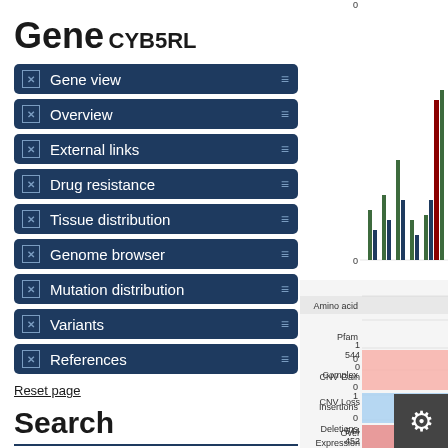Gene
CYB5RL
Gene view
Overview
External links
Drug resistance
Tissue distribution
Genome browser
Mutation distribution
Variants
References
Reset page
Search
Search COSMIC...
[Figure (bar-chart): Gene view panel showing mutation distribution across amino acid positions with tracks for Amino acid, Pfam, Complex, Insertions, Deletions, CNV Gain (0, 544), CNV Loss (0), and Over Expression (544, 452) with colored area fills]
Amino acid
Pfam
Complex
Insertions
Deletions
CNV Gain
CNV Loss
Over Expression